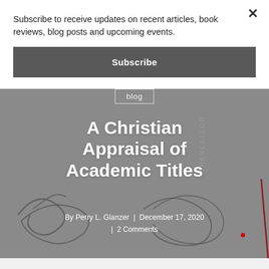Subscribe to receive updates on recent articles, book reviews, blog posts and upcoming events.
Subscribe
[Figure (photo): Grayscale hero image background showing handwritten signatures on a document, with faint text 'CHANCELLOR' visible. Decorative cursive signatures overlay the image.]
blog
A Christian Appraisal of Academic Titles
By Perry L. Glanzer  |  December 17, 2020  |  2 Comments